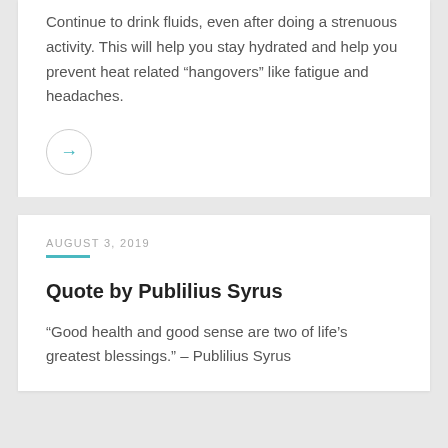Continue to drink fluids, even after doing a strenuous activity. This will help you stay hydrated and help you prevent heat related “hangovers” like fatigue and headaches.
[Figure (other): A circular arrow button indicating navigation (right arrow icon)]
AUGUST 3, 2019
Quote by Publilius Syrus
“Good health and good sense are two of life’s greatest blessings.” – Publilius Syrus